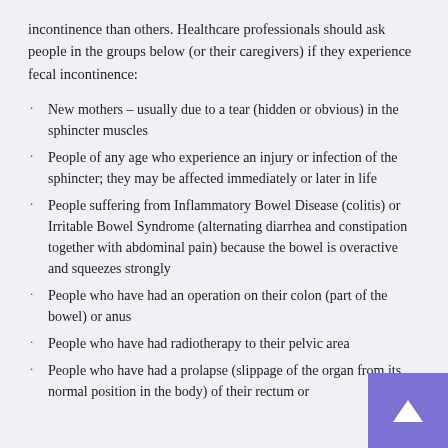incontinence than others. Healthcare professionals should ask people in the groups below (or their caregivers) if they experience fecal incontinence:
New mothers – usually due to a tear (hidden or obvious) in the sphincter muscles
People of any age who experience an injury or infection of the sphincter; they may be affected immediately or later in life
People suffering from Inflammatory Bowel Disease (colitis) or Irritable Bowel Syndrome (alternating diarrhea and constipation together with abdominal pain) because the bowel is overactive and squeezes strongly
People who have had an operation on their colon (part of the bowel) or anus
People who have had radiotherapy to their pelvic area
People who have had a prolapse (slippage of the organ from its normal position in the body) of their rectum or